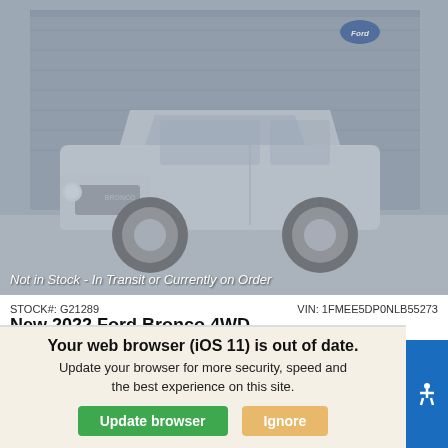[Figure (photo): Photo of a gray 2022 Ford Bronco 4WD SUV parked in front of a building with a Ford logo, faded/muted appearance indicating vehicle is not in stock.]
Not in Stock - In Transit or Currently on Order
STOCK#: G21289    VIN: 1FMEE5DP0NLB55273
New 2022 Ford Bronco 4WD
332A Convertible Convertible 10-Speed Automatic w/OD
MSRP
We use cookies to optimize our website and our service.
Cookie Policy   Privacy Statement
Your web browser (iOS 11) is out of date. Update your browser for more security, speed and the best experience on this site.
Update browser   Ignore